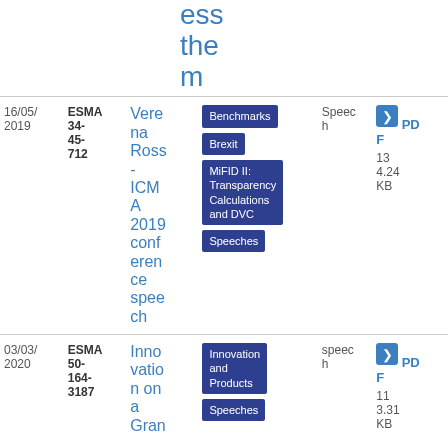| Date | Reference | Title | Tags | Type | File |
| --- | --- | --- | --- | --- | --- |
| 16/05/2019 | ESMA 34-45-712 | Verena Ross - ICMA 2019 conference speech | Benchmarks, Brexit, MiFID II: Transparency Calculations and DVC, Speeches | Speech | PDF 134.24 KB |
| 03/03/2020 | ESMA 50-164-3187 | Innovation on a Gran... | Innovation and Products, Speeches | Speech | PDF 113.31 KB |